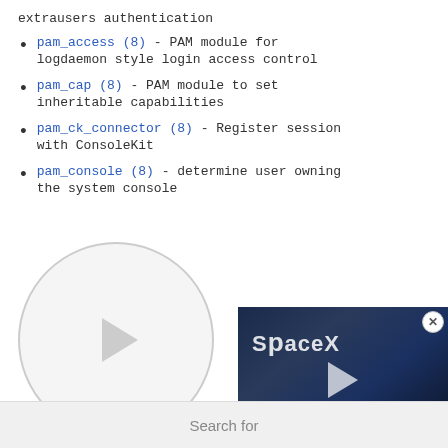extrausers authentication
pam_access (8) - PAM module for logdaemon style login access control
pam_cap (8) - PAM module to set inheritable capabilities
pam_ck_connector (8) - Register session with ConsoleKit
pam_console (8) - determine user owning the system console
[Figure (screenshot): Video player placeholder with circular play button and an embedded ad overlay showing a SpaceX building. The ad has a blue caption bar reading 'SpaceX and T-Mobile Want To Team Up' and subtitle 'To Use Satellites for Better Cell Phone Service'. A close button (x) appears at top right of the overlay.]
Search for